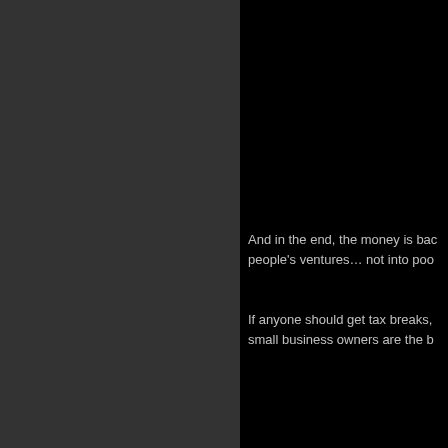And in the end, the money is bac people's ventures… not into poo
If anyone should get tax breaks, small business owners are the b